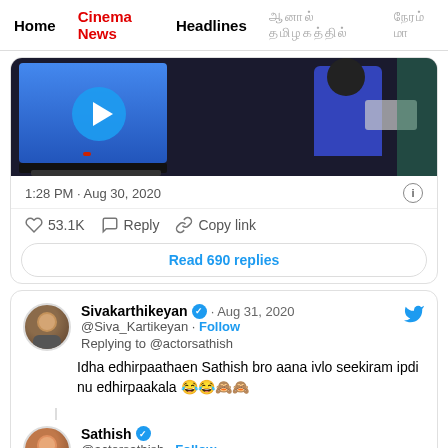Home | Cinema News | Headlines
[Figure (screenshot): Screenshot of a tweet with a video thumbnail showing a person in front of a TV screen]
1:28 PM · Aug 30, 2020
♡ 53.1K  Reply  Copy link
Read 690 replies
Sivakarthikeyan ✓ · Aug 31, 2020
@Siva_Kartikeyan · Follow
Replying to @actorsathish
Idha edhirpaathaen Sathish bro aana ivlo seekiram ipdi nu edhirpaakala 😂😂🙈🙈
Sathish ✓
@actorsathish · Follow